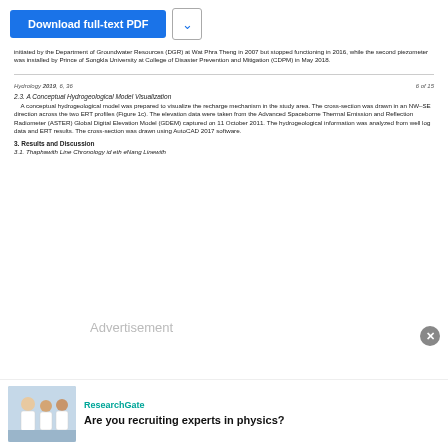[Figure (other): Download full-text PDF button with dropdown arrow]
initiated by the Department of Groundwater Resources (DGR) at Wat Phra Theng in 2007 but stopped functioning in 2016, while the second piezometer was installed by Prince of Songkla University at College of Disaster Prevention and Mitigation (CDPM) in May 2018.
Hydrology 2019, 6, 36    6 of 15
2.3. A Conceptual Hydrogeological Model Visualization
A conceptual hydrogeological model was prepared to visualize the recharge mechanism in the study area. The cross-section was drawn in an NW–SE direction across the two ERT profiles (Figure 1c). The elevation data were taken from the Advanced Spaceborne Thermal Emission and Reflection Radiometer (ASTER) Global Digital Elevation Model (GDEM) captured on 11 October 2011. The hydrogeological information was analyzed from well log data and ERT results. The cross-section was drawn using AutoCAD 2017 software.
3. Results and Discussion
3.1. Thaphawith Line Chronology id eth eNang Linewith
[Figure (infographic): Advertisement overlay with ResearchGate branding. Shows photo of researchers and text: Are you recruiting experts in physics?]